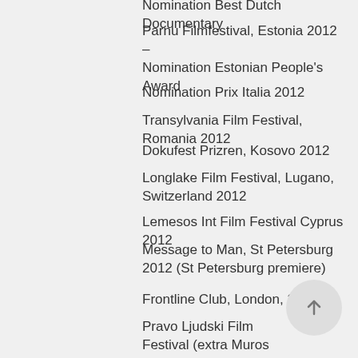Nomination Best Dutch Documentary
Parnu Filmfestival, Estonia 2012 – Nomination Estonian People's Award
Nomination Prix Italia 2012
Transylvania Film Festival, Romania 2012
Dokufest Prizren, Kosovo 2012
Longlake Film Festival, Lugano, Switzerland 2012
Lemesos Int Film Festival Cyprus 2012
Message to Man, St Petersburg 2012 (St Petersburg premiere)
Frontline Club, London, 2012
Pravo Ljudski Film Festival (extra Muros competition), Sarajevo 2012
Dokumentarist, Istanbul, Turkey 2012
Saturdox, Istanbul, Turkey 2013
Human Rights Film festival, Sint Petersburg, 2013